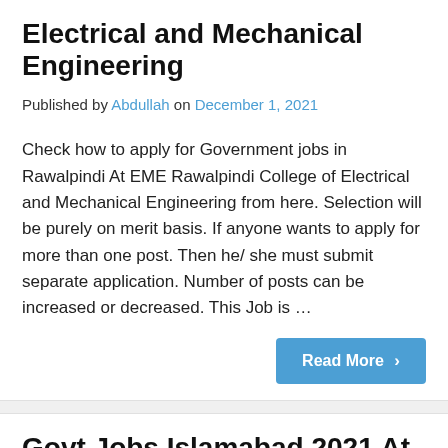Electrical and Mechanical Engineering
Published by Abdullah on December 1, 2021
Check how to apply for Government jobs in Rawalpindi At EME Rawalpindi College of Electrical and Mechanical Engineering from here. Selection will be purely on merit basis. If anyone wants to apply for more than one post. Then he/ she must submit separate application. Number of posts can be increased or decreased. This Job is …
Read More ›
Govt Jobs Islamabad 2021 At Iqra University Islamabad
Published by Abdullah on December 1, 2021